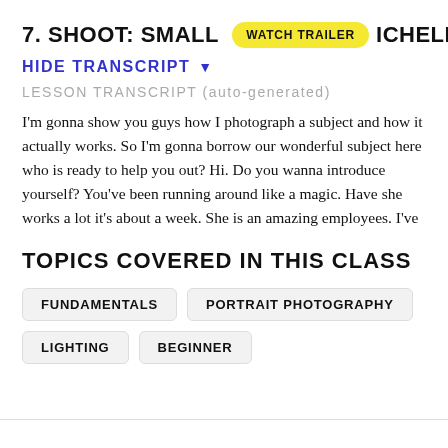7. SHOOT: SMALL [WATCH TRAILER] ICHELLE
HIDE TRANSCRIPT ▾
LESSON TRANSCRIPT (auto-generated)
I'm gonna show you guys how I photograph a subject and how it actually works. So I'm gonna borrow our wonderful subject here who is ready to help you out? Hi. Do you wanna introduce yourself? You've been running around like a magic. Have she works a lot it's about a week. She is an amazing employees. I've
TOPICS COVERED IN THIS CLASS
FUNDAMENTALS
PORTRAIT PHOTOGRAPHY
LIGHTING
BEGINNER